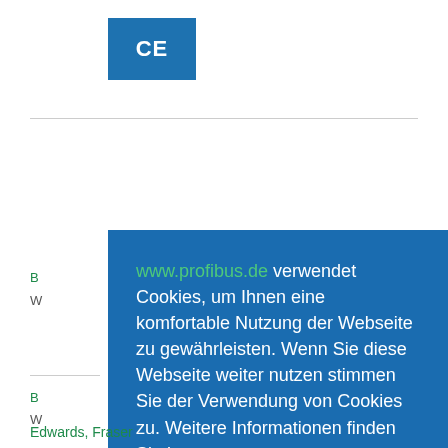[Figure (logo): CE logo: blue square with white text 'CE']
www.profibus.de verwendet Cookies, um Ihnen eine komfortable Nutzung der Webseite zu gewährleisten. Wenn Sie diese Webseite weiter nutzen stimmen Sie der Verwendung von Cookies zu. Weitere Informationen finden Sie in unserer Datenschutzerklärung
Verstanden
Edwards, Fraser